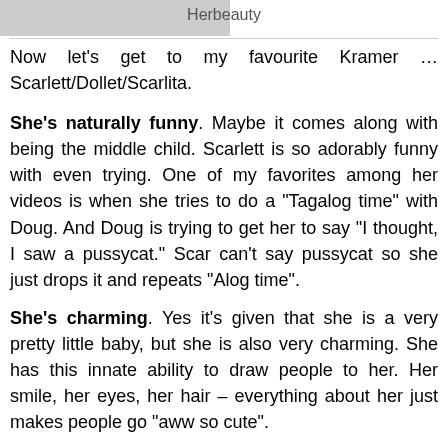[Figure (photo): Partial black and white photo visible at top left corner]
Herbeauty
Now let’s get to my favourite Kramer … Scarlett/Dollet/Scarlita.
She’s naturally funny. Maybe it comes along with being the middle child. Scarlett is so adorably funny with even trying. One of my favorites among her videos is when she tries to do a “Tagalog time” with Doug. And Doug is trying to get her to say “I thought, I saw a pussycat.” Scar can’t say pussycat so she just drops it and repeats “Alog time”.
She’s charming. Yes it’s given that she is a very pretty little baby, but she is also very charming. She has this innate ability to draw people to her. Her smile, her eyes, her hair – everything about her just makes people go “aww so cute”.
She’s independent. Before you go about the idea of a child being independent, let me explain first. Independent in the sense that, at a very young age, she doesn’t want